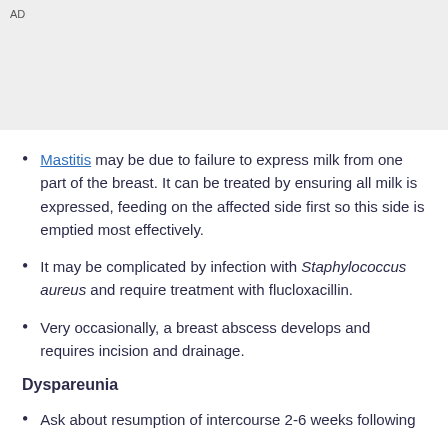AD
Mastitis may be due to failure to express milk from one part of the breast. It can be treated by ensuring all milk is expressed, feeding on the affected side first so this side is emptied most effectively.
It may be complicated by infection with Staphylococcus aureus and require treatment with flucloxacillin.
Very occasionally, a breast abscess develops and requires incision and drainage.
Dyspareunia
Ask about resumption of intercourse 2-6 weeks following